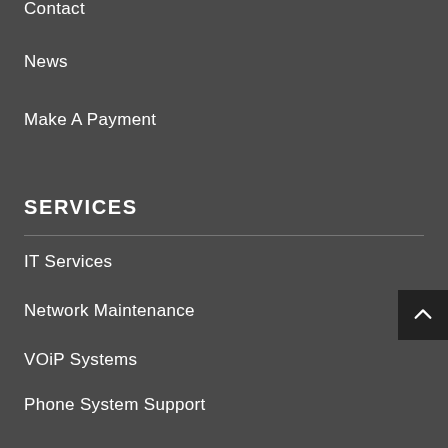Contact
News
Make A Payment
SERVICES
IT Services
Network Maintenance
VOiP Systems
Phone System Support
Office Equipment Sales
Office Equipment Support